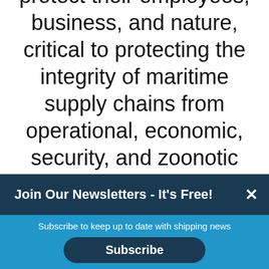protect their employees, business, and nature, critical to protecting the integrity of maritime supply chains from operational, economic, security, and zoonotic health risks”
Join Our Newsletters - It's Free! ×
Subscribe to keep up to date with shipping news
Subscribe